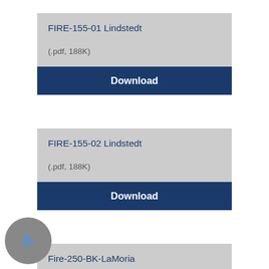(.pdf, 104K)
Download
FIRE-155-01 Lindstedt
(.pdf, 188K)
Download
FIRE-155-02 Lindstedt
(.pdf, 188K)
Download
Fire-250-BK-LaMoria